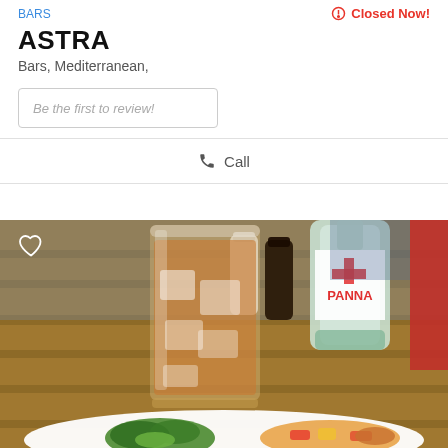BARS
Closed Now!
ASTRA
Bars, Mediterranean,
Be the first to review!
Call
Show Map
[Figure (photo): A glass of iced drink (amber/tea colored) on a wooden table, with an Acqua Panna water bottle and other condiments in the background, and a plate of salad/food in the foreground.]